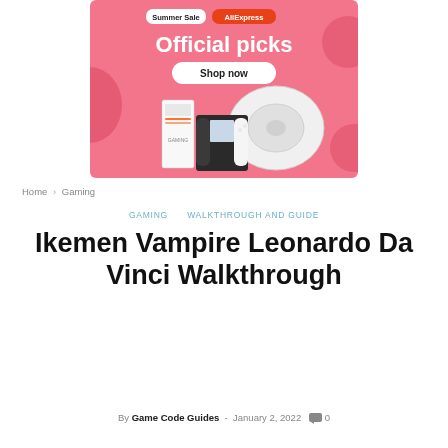[Figure (illustration): AliExpress Summer Sale advertisement banner with pink background. Shows 'Summer Sale' and 'AliExpress' badges at top, 'Official picks' heading in white bold text, a 'Shop now' button, and product images including a robot vacuum cleaner, gaming PC tower, and Nintendo Switch.]
Home › Gaming
GAMING   WALKTHROUGH AND GUIDE
Ikemen Vampire Leonardo Da Vinci Walkthrough
By Game Code Guides - January 2, 2022  💬 0